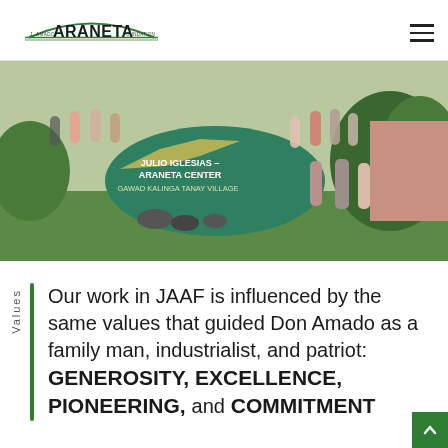[Figure (logo): J. Amado Araneta Foundation logo with green arch and text]
[Figure (photo): Group photo at Julio Iglesias Araneta Center, Gawad Kalinga Tanay Village — large green boulder sign with people gathered around it waving]
Values
Our work in JAAF is influenced by the same values that guided Don Amado as a family man, industrialist, and patriot: GENEROSITY, EXCELLENCE, PIONEERING, and COMMITMENT